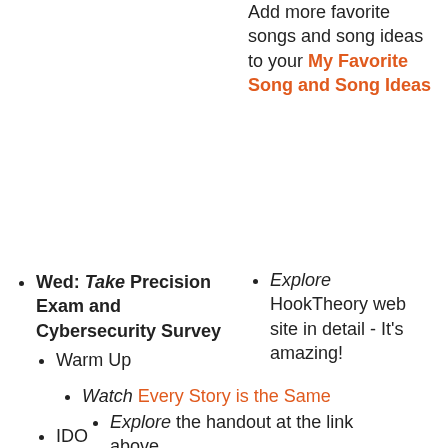Add more favorite songs and song ideas to your My Favorite Song and Song Ideas
Explore HookTheory web site in detail - It's amazing!
Wed: Take Precision Exam and Cybersecurity Survey
Warm Up
Watch Every Story is the Same
Explore the handout at the link above
IDO